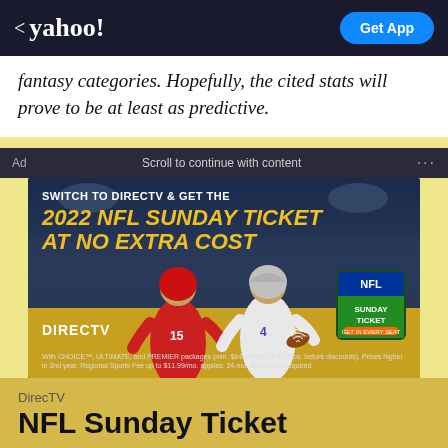< yahoo!  Get App
fantasy categories. Hopefully, the cited stats will prove to be at least as predictive.
Ad   Scroll to continue with content   ...
[Figure (photo): DirecTV advertisement showing two NFL quarterbacks (Kansas City Chiefs #15 and Dallas Cowboys #4) in front of a stadium crowd background. Text reads: SWITCH TO DIRECTV & GET THE 2022 NFL SUNDAY TICKET AT NO EXTRA COST. DirecTV logo and NFL Sunday Ticket badge visible. Fine print disclaimer at bottom.]
DirecTV
NFL Sunday Ticket
Don't be left on the sidelines this season, Get